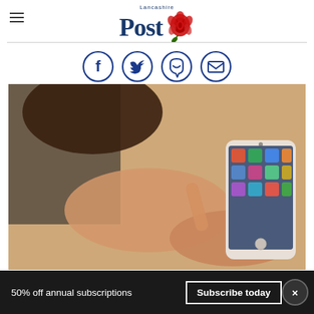Lancashire Post
[Figure (illustration): Social media sharing icons: Facebook, Twitter, WhatsApp, Email - circular blue outlined icons]
[Figure (photo): Person using a smartphone, tapping the screen with index finger, app icons visible on phone screen, warm background]
50% off annual subscriptions  Subscribe today  ×